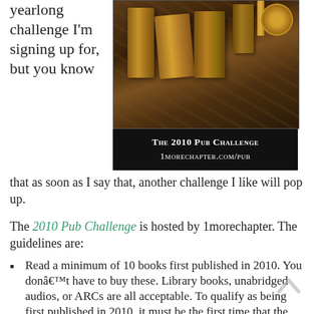yearlong challenge I'm signing up for, but you know
[Figure (photo): Dark background image of old books stacked on a surface with a compass, with a dark banner reading 'The 2010 Pub Challenge 1morechapter.com/pub']
that as soon as I say that, another challenge I like will pop up.
The 2010 Pub Challenge is hosted by 1morechapter.  The guidelines are:
Read a minimum of 10 books first published in 2010. You donâ€™t have to buy these. Library books, unabridged audios, or ARCs are all acceptable. To qualify as being first published in 2010, it must be the first time that the book is published in your own country. For example, if a book was published in Australia, England, or Canada in 2009, and then published in the USA in 2010, it counts (if you live in the USA). Newly